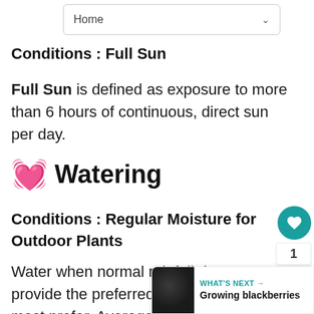Home
Conditions : Full Sun
Full Sun is defined as exposure to more than 6 hours of continuous, direct sun per day.
💧 Watering
Conditions : Regular Moisture for Outdoor Plants
Water when normal rainfall does not provide the preferred 1 inch of moisture most prefer. Average water is needed during the growing season, but take care not to